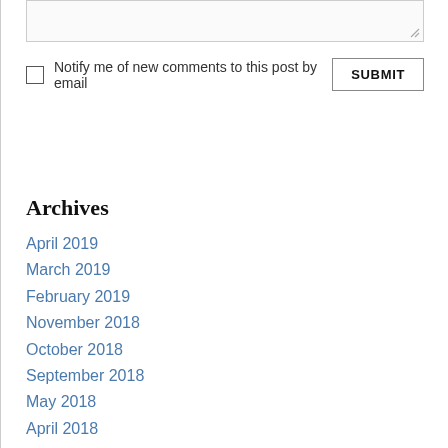Notify me of new comments to this post by email
Archives
April 2019
March 2019
February 2019
November 2018
October 2018
September 2018
May 2018
April 2018
February 2018
November 2017
September 2017